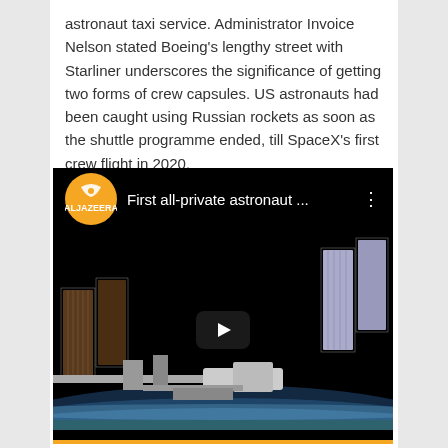astronaut taxi service. Administrator Invoice Nelson stated Boeing's lengthy street with Starliner underscores the significance of getting two forms of crew capsules. US astronauts had been caught using Russian rockets as soon as the shuttle programme ended, till SpaceX's first crew flight in 2020.
[Figure (screenshot): YouTube video thumbnail showing the International Space Station in orbit above Earth, with Al Jazeera logo and title 'First all-private astronaut ...' and a play button overlay]